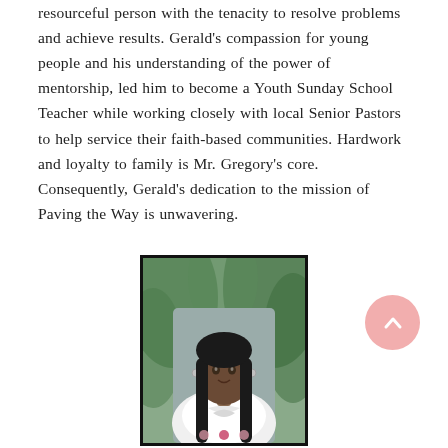resourceful person with the tenacity to resolve problems and achieve results. Gerald's compassion for young people and his understanding of the power of mentorship, led him to become a Youth Sunday School Teacher while working closely with local Senior Pastors to help service their faith-based communities. Hardwork and loyalty to family is Mr. Gregory's core. Consequently, Gerald's dedication to the mission of Paving the Way is unwavering.
[Figure (photo): Portrait photo of a woman with long dark hair wearing a white ruffled blouse, seated in front of green foliage background, framed with a black border]